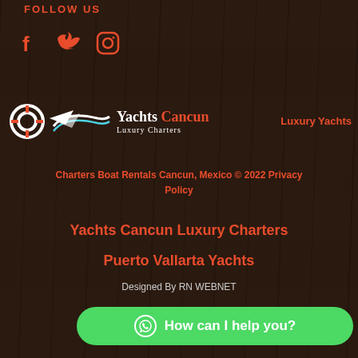FOLLOW US
[Figure (illustration): Social media icons: Facebook (f), Twitter (bird), Instagram (camera) in orange/red color]
[Figure (logo): Yachts Cancun Luxury Charters logo with life preserver ring icon, swoosh/wave graphic, text 'Yachts Cancun Luxury Charters' and 'Luxury Yachts' on the right]
Charters Boat Rentals Cancun, Mexico © 2022 Privacy Policy
Yachts Cancun Luxury Charters
Puerto Vallarta Yachts
Designed By RN WEBNET
[Figure (illustration): Green WhatsApp button with circle phone icon and text 'How can I help you?']